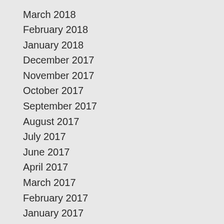March 2018
February 2018
January 2018
December 2017
November 2017
October 2017
September 2017
August 2017
July 2017
June 2017
April 2017
March 2017
February 2017
January 2017
December 2016
October 2016
September 2016
August 2016
July 2016